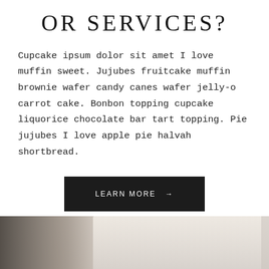OR SERVICES?
Cupcake ipsum dolor sit amet I love muffin sweet. Jujubes fruitcake muffin brownie wafer candy canes wafer jelly-o carrot cake. Bonbon topping cupcake liquorice chocolate bar tart topping. Pie jujubes I love apple pie halvah shortbread.
LEARN MORE →
[Figure (photo): Partial view of a person, blurred, with dark element on the left side. Bottom portion of the page.]